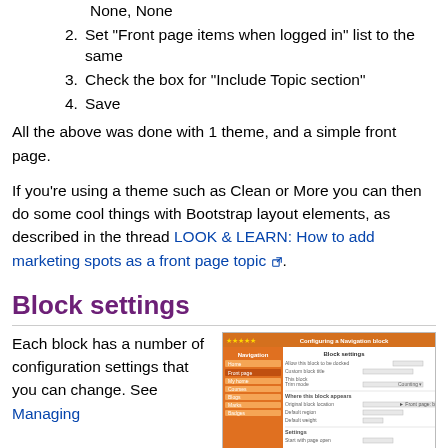None, None
2. Set "Front page items when logged in" list to the same
3. Check the box for "Include Topic section"
4. Save
All the above was done with 1 theme, and a simple front page.
If you're using a theme such as Clean or More you can then do some cool things with Bootstrap layout elements, as described in the thread LOOK & LEARN: How to add marketing spots as a front page topic.
Block settings
Each block has a number of configuration settings that you can change. See Managing
[Figure (screenshot): Screenshot of 'Configuring a Navigation block' settings panel with navigation sidebar and form fields]